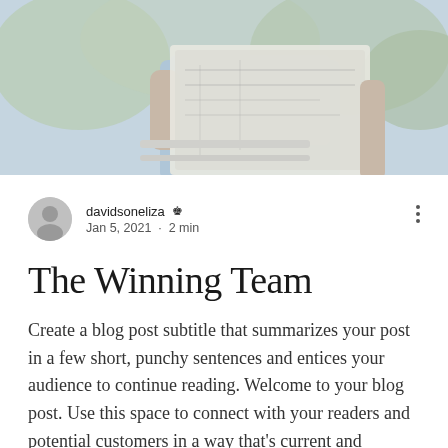[Figure (photo): Partial photo of a person holding architectural or engineering blueprints/plans outdoors, wearing a light blue shirt, with blurred greenery in background]
davidsoneliza 👑 Jan 5, 2021 · 2 min
The Winning Team
Create a blog post subtitle that summarizes your post in a few short, punchy sentences and entices your audience to continue reading. Welcome to your blog post. Use this space to connect with your readers and potential customers in a way that's current and interesting. Think of it as an ongoing conversation where you can share updates about business, trends,